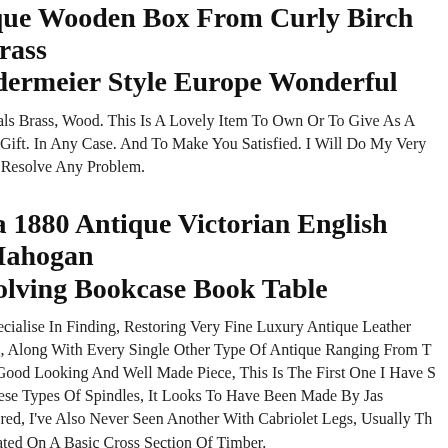ique Wooden Box From Curly Birch Brass edermeier Style Europe Wonderful
erials Brass, Wood. This Is A Lovely Item To Own Or To Give As A ial Gift. In Any Case. And To Make You Satisfied. I Will Do My Very To Resolve Any Problem.
ca 1880 Antique Victorian English Mahogan volving Bookcase Book Table
Specialise In Finding, Restoring Very Fine Luxury Antique Leather ing, Along With Every Single Other Type Of Antique Ranging From T A Good Looking And Well Made Piece, This Is The First One I Have S These Types Of Spindles, It Looks To Have Been Made By Jas olbred, I've Also Never Seen Another With Cabriolet Legs, Usually Th Seated On A Basic Cross Section Of Timber.
ina Dehua White Porcelain Handmade Sit an Gong Guan Yu Read Book Statue 45cm